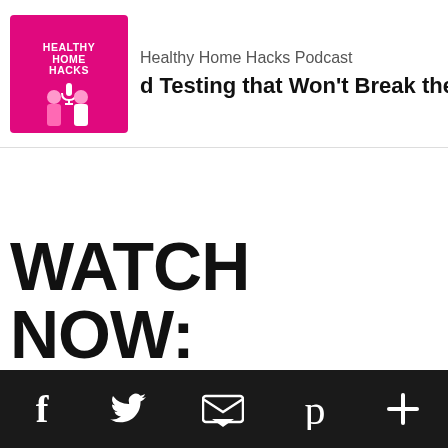[Figure (screenshot): Podcast player bar for Healthy Home Hacks Podcast showing magenta thumbnail with podcast logo and two figures, podcast title, episode title 'd Testing that Won't Break the Bank', play button and expand button]
WATCH NOW:
[Figure (infographic): Dark bottom social share bar with Facebook, Twitter, Email, Pinterest, and More (+) icons in white]